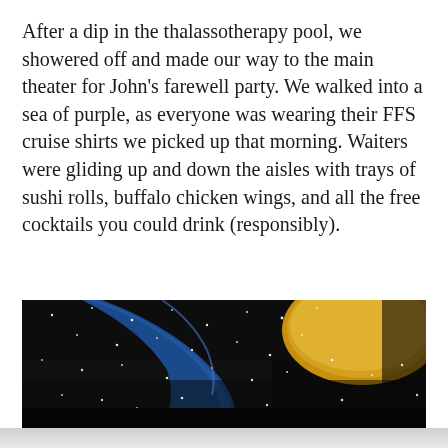After a dip in the thalassotherapy pool, we showered off and made our way to the main theater for John's farewell party. We walked into a sea of purple, as everyone was wearing their FFS cruise shirts we picked up that morning. Waiters were gliding up and down the aisles with trays of sushi rolls, buffalo chicken wings, and all the free cocktails you could drink (responsibly).
[Figure (photo): Interior photo of a cruise ship theater at night, showing a dark ceiling with star-like pinpoint lights, a curved blue architectural element, and a golden/amber illuminated section. The theater interior is dark with scattered white lights visible.]